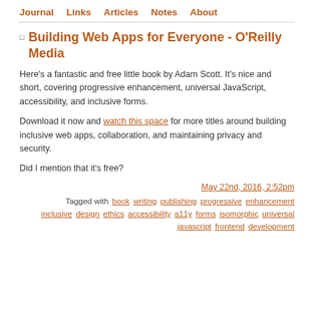Journal  Links  Articles  Notes  About
Building Web Apps for Everyone - O'Reilly Media
Here's a fantastic and free little book by Adam Scott. It's nice and short, covering progressive enhancement, universal JavaScript, accessibility, and inclusive forms.
Download it now and watch this space for more titles around building inclusive web apps, collaboration, and maintaining privacy and security.
Did I mention that it's free?
May 22nd, 2016, 2:52pm
Tagged with book writing publishing progressive enhancement inclusive design ethics accessibility a11y forms isomorphic universal javascript frontend development